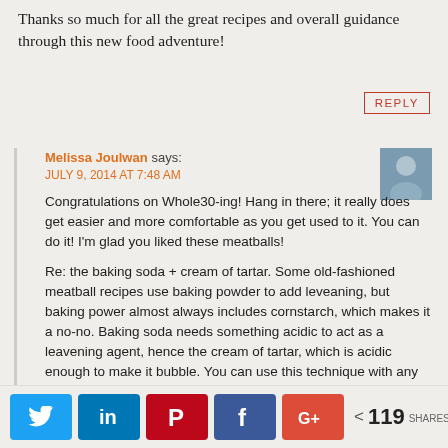Thanks so much for all the great recipes and overall guidance through this new food adventure!
REPLY
Melissa Joulwan says:
JULY 9, 2014 AT 7:48 AM
Congratulations on Whole30-ing! Hang in there; it really does get easier and more comfortable as you get used to it. You can do it! I'm glad you liked these meatballs!
Re: the baking soda + cream of tartar. Some old-fashioned meatball recipes use baking powder to add leveaning, but baking power almost always includes cornstarch, which makes it a no-no. Baking soda needs something acidic to act as a leavening agent, hence the cream of tartar, which is acidic enough to make it bubble. You can use this technique with any ground meat that you shape before cooking, like meatballs, meatloaf, burgers, etc.
[Figure (infographic): Social share bar with Twitter, LinkedIn, Pinterest, Facebook, Google+ buttons and share count of 119]